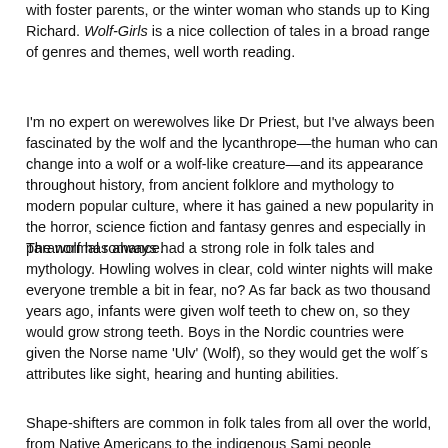with foster parents, or the winter woman who stands up to King Richard. Wolf-Girls is a nice collection of tales in a broad range of genres and themes, well worth reading.
I'm no expert on werewolves like Dr Priest, but I've always been fascinated by the wolf and the lycanthrope—the human who can change into a wolf or a wolf-like creature—and its appearance throughout history, from ancient folklore and mythology to modern popular culture, where it has gained a new popularity in the horror, science fiction and fantasy genres and especially in paranormal romance.
The wolf has always had a strong role in folk tales and mythology. Howling wolves in clear, cold winter nights will make everyone tremble a bit in fear, no? As far back as two thousand years ago, infants were given wolf teeth to chew on, so they would grow strong teeth. Boys in the Nordic countries were given the Norse name 'Ulv' (Wolf), so they would get the wolf´s attributes like sight, hearing and hunting abilities.
Shape-shifters are common in folk tales from all over the world, from Native Americans to the indigenous Sami people